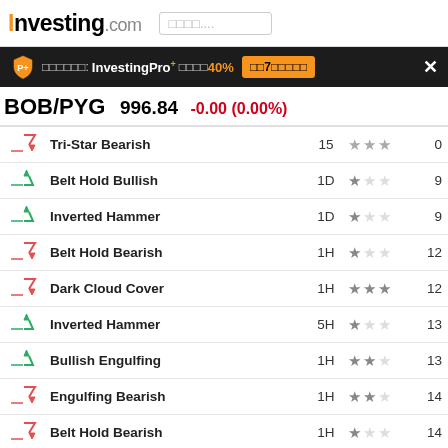Investing.com
InvestingPro+ 40% off — 7-day trial button
BOB/PYG 996.84 -0.00 (0.00%)
| Icon | Pattern | Timeframe | Stars | Value |
| --- | --- | --- | --- | --- |
| bearish | Tri-Star Bearish | 15 | ★★★ | 0 |
| bullish | Belt Hold Bullish | 1D | ★☆☆ | 9 |
| bullish | Inverted Hammer | 1D | ★☆☆ | 9 |
| bearish | Belt Hold Bearish | 1H | ★☆☆ | 12 |
| bearish | Dark Cloud Cover | 1H | ★★★ | 12 |
| bullish | Inverted Hammer | 5H | ★☆☆ | 13 |
| bullish | Bullish Engulfing | 1H | ★★☆ | 13 |
| bearish | Engulfing Bearish | 1H | ★★☆ | 14 |
| bearish | Belt Hold Bearish | 1H | ★☆☆ | 14 |
| bullish | Belt Hold Bullish | 1H | ★☆☆ | 15 |
| bullish | Harami Bullish | 30 | ★☆☆ | 15 |
| bullish | Harami Cross | 30 | ★☆☆ | 15 |
| bullish | Tri-Star Bullish | 15 | ★★☆ | 15 |
| bullish | Belt Hold Bullish | 1H | ★☆☆ | 16 |
| bearish | Belt Hold Bearish | 30 | ★☆☆ | 16 |